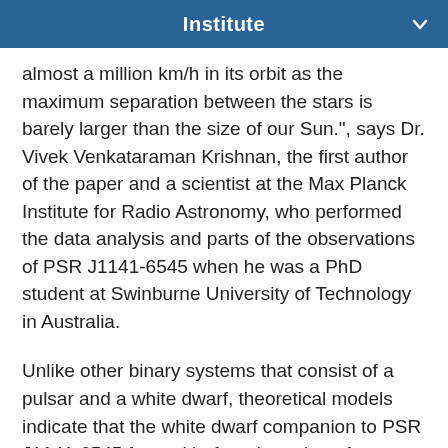Institute
almost a million km/h in its orbit as the maximum separation between the stars is barely larger than the size of our Sun.", says Dr. Vivek Venkataraman Krishnan, the first author of the paper and a scientist at the Max Planck Institute for Radio Astronomy, who performed the data analysis and parts of the observations of PSR J1141-6545 when he was a PhD student at Swinburne University of Technology in Australia.
Unlike other binary systems that consist of a pulsar and a white dwarf, theoretical models indicate that the white dwarf companion to PSR J1141-6545 formed before the pulsar. An important prediction of these models is that, before the supernova explosion that formed the pulsar, there was significant mass transfer from the progenitor of the pulsar to the white dwarf. This resulted in an